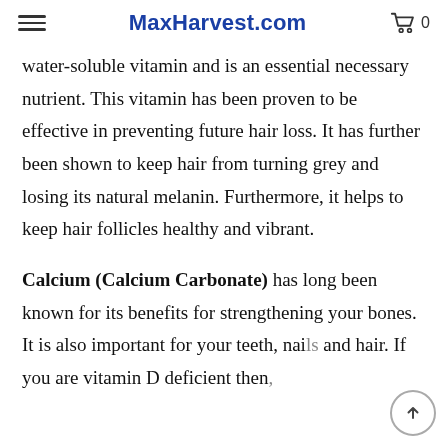MaxHarvest.com
water-soluble vitamin and is an essential necessary nutrient. This vitamin has been proven to be effective in preventing future hair loss. It has further been shown to keep hair from turning grey and losing its natural melanin. Furthermore, it helps to keep hair follicles healthy and vibrant.
Calcium (Calcium Carbonate) has long been known for its benefits for strengthening your bones. It is also important for your teeth, nails and hair. If you are vitamin D deficient then,